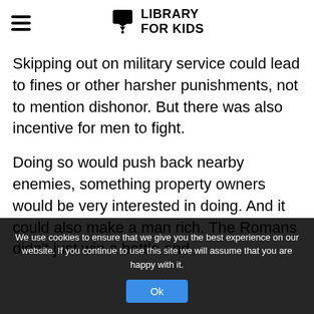LIBRARY FOR KIDS
Skipping out on military service could lead to fines or other harsher punishments, not to mention dishonor. But there was also incentive for men to fight.
Doing so would push back nearby enemies, something property owners would be very interested in doing. And it could also make a man rich. The Romans didn’t just win a battle and
We use cookies to ensure that we give you the best experience on our website. If you continue to use this site we will assume that you are happy with it.